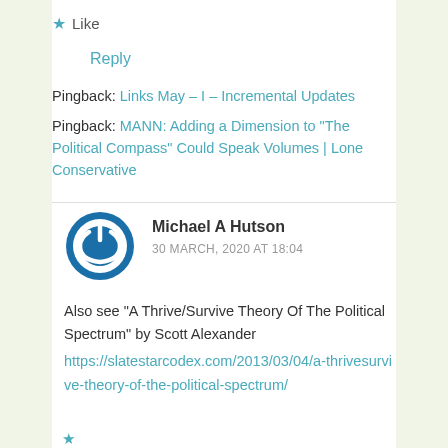★ Like
Reply
Pingback: Links May – I – Incremental Updates
Pingback: MANN: Adding a Dimension to "The Political Compass" Could Speak Volumes | Lone Conservative
Michael A Hutson
30 MARCH, 2020 AT 18:04
Also see "A Thrive/Survive Theory Of The Political Spectrum" by Scott Alexander https://slatestarcodex.com/2013/03/04/a-thrivesurvive-theory-of-the-political-spectrum/